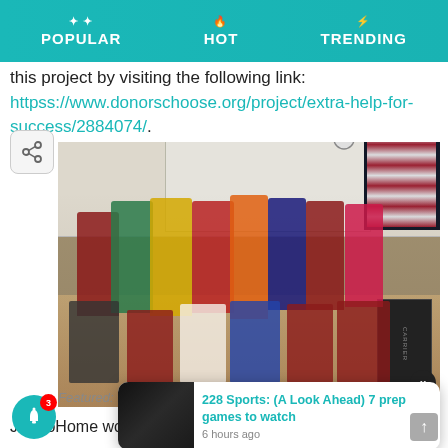POPULAR   HOT   TRENDING
this project by visiting the following link: httpss://www.donorschoose.org/project/extra-help-for-success/2884074/.
[Figure (photo): Group photo of elementary school children in a classroom, some in costumes, posing together. American flag and whiteboard visible in background.]
228 Sports: (A Look Ahead) 7 prep games to watch
6 hours ago
Featured: Lorr
JaxCoHome would like to thank all of the participants